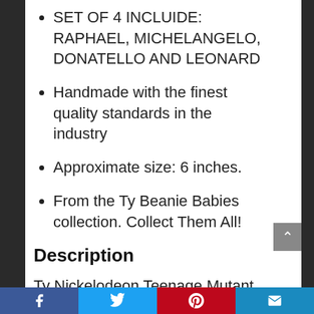SET OF 4 INCLUIDE: RAPHAEL, MICHELANGELO, DONATELLO AND LEONARD
Handmade with the finest quality standards in the industry
Approximate size: 6 inches.
From the Ty Beanie Babies collection. Collect Them All!
Description
Ty Nickelodeon Teenage Mutant Ninja Turtles Beanie Babies. He makes for a great birthday